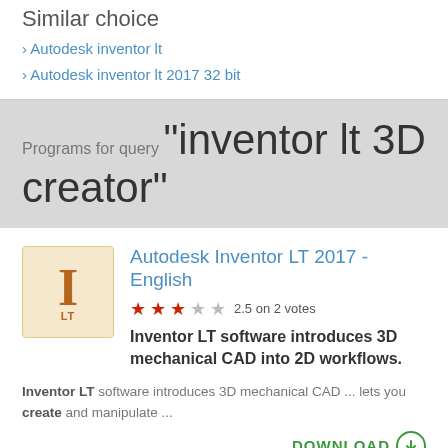Similar choice
› Autodesk inventor lt
› Autodesk inventor lt 2017 32 bit
Programs for query "inventor lt 3D creator"
Autodesk Inventor LT 2017 - English
2.5 on 2 votes
Inventor LT software introduces 3D mechanical CAD into 2D workflows.
Inventor LT software introduces 3D mechanical CAD ... lets you create and manipulate ...
DOWNLOAD